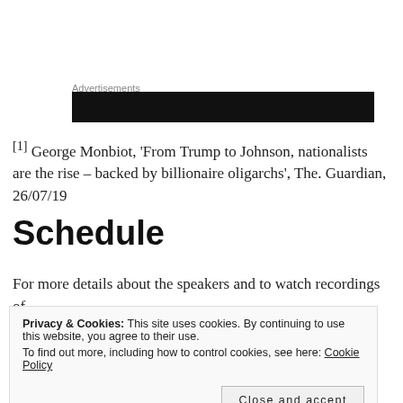Advertisements
[Figure (other): Black advertisement banner block]
[1] George Monbiot, 'From Trump to Johnson, nationalists are the rise – backed by billionaire oligarchs', The. Guardian, 26/07/19
Schedule
For more details about the speakers and to watch recordings of
Privacy & Cookies: This site uses cookies. By continuing to use this website, you agree to their use. To find out more, including how to control cookies, see here: Cookie Policy
Close and accept